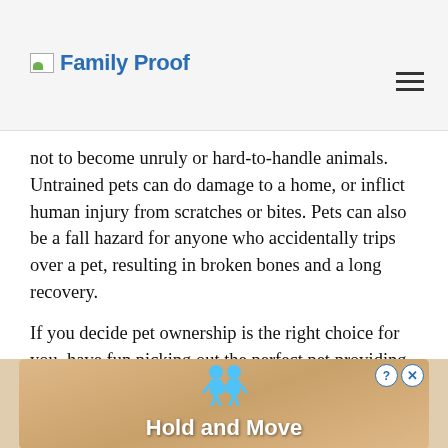Family Proof
not to become unruly or hard-to-handle animals. Untrained pets can do damage to a home, or inflict human injury from scratches or bites. Pets can also be a fall hazard for anyone who accidentally trips over a pet, resulting in broken bones and a long recovery.
If you decide pet ownership is the right choice for you, have fun picking out the perfect pet providing hours of entertainment but also multiple health perks as well.
[Figure (screenshot): Advertisement banner with two cartoon figures and text 'Hold and Move', with close and help buttons]